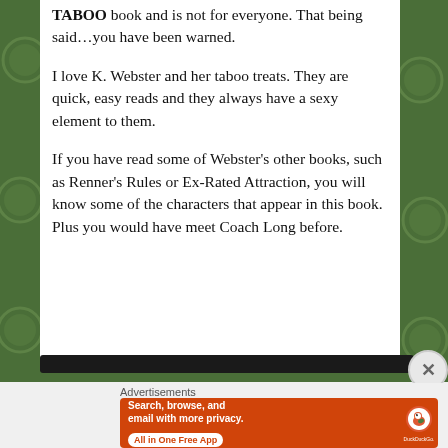TABOO book and is not for everyone. That being said…you have been warned.
I love K. Webster and her taboo treats. They are quick, easy reads and they always have a sexy element to them.
If you have read some of Webster's other books, such as Renner's Rules or Ex-Rated Attraction, you will know some of the characters that appear in this book. Plus you would have meet Coach Long before.
[Figure (screenshot): DuckDuckGo advertisement banner with orange background showing 'Search, browse, and email with more privacy. All in One Free App' with DuckDuckGo logo and phone graphic]